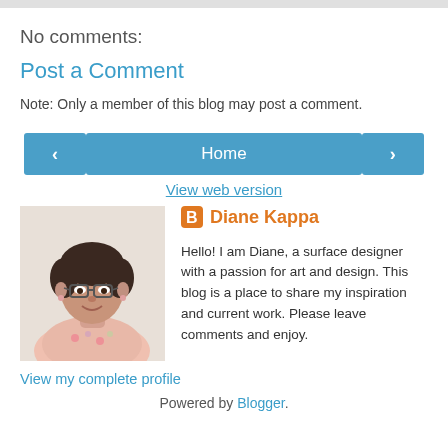No comments:
Post a Comment
Note: Only a member of this blog may post a comment.
< | Home | >
View web version
[Figure (photo): Profile photo of Diane Kappa, a woman with short brown hair and glasses, smiling.]
Diane Kappa
Hello! I am Diane, a surface designer with a passion for art and design. This blog is a place to share my inspiration and current work. Please leave comments and enjoy.
View my complete profile
Powered by Blogger.